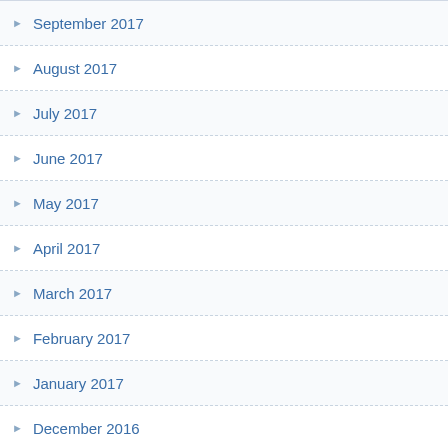September 2017
August 2017
July 2017
June 2017
May 2017
April 2017
March 2017
February 2017
January 2017
December 2016
November 2016
October 2016
September 2016
August 2016
July 2016
June 2016